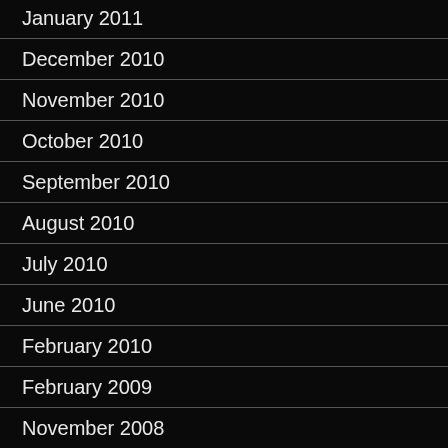January 2011
December 2010
November 2010
October 2010
September 2010
August 2010
July 2010
June 2010
February 2010
February 2009
November 2008
October 2008
September 2008